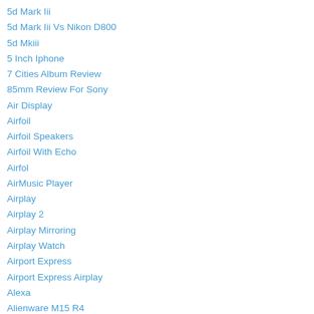5d Mark Iii
5d Mark Iii Vs Nikon D800
5d Mkiii
5 Inch Iphone
7 Cities Album Review
85mm Review For Sony
Air Display
Airfoil
Airfoil Speakers
Airfoil With Echo
Airfol
AirMusic Player
Airplay
Airplay 2
Airplay Mirroring
Airplay Watch
Airport Express
Airport Express Airplay
Alexa
Alienware M15 R4